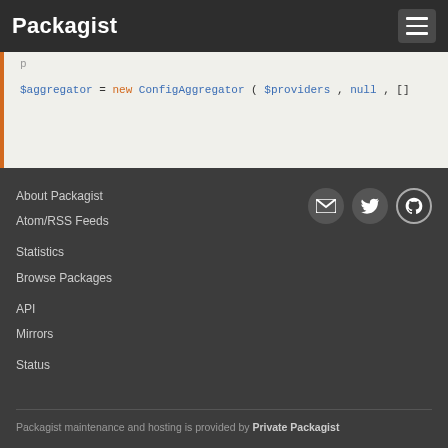Packagist
$aggregator = new ConfigAggregator($providers, null, []
About Packagist
Atom/RSS Feeds
Statistics
Browse Packages
API
Mirrors
Status
Packagist maintenance and hosting is provided by Private Packagist